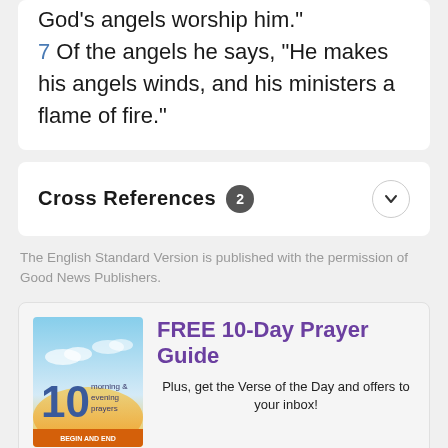God's angels worship him."
7 Of the angels he says, "He makes his angels winds, and his ministers a flame of fire."
Cross References 2
The English Standard Version is published with the permission of Good News Publishers.
FREE 10-Day Prayer Guide
Plus, get the Verse of the Day and offers to your inbox!